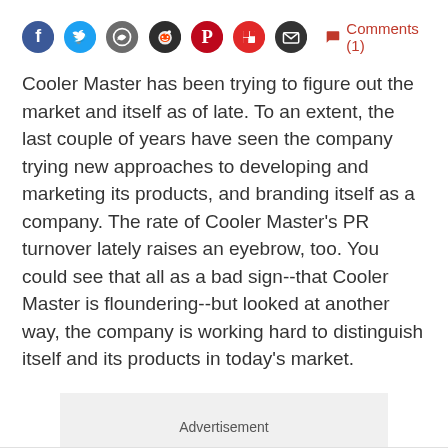[Figure (infographic): Social sharing icons row: Facebook (blue circle), Twitter (blue circle), WhatsApp (green circle), Reddit (dark circle), Pinterest (red circle), Flipboard (red circle), Email (dark circle), then a red comment bubble icon and 'Comments (1)' link in red text.]
Cooler Master has been trying to figure out the market and itself as of late. To an extent, the last couple of years have seen the company trying new approaches to developing and marketing its products, and branding itself as a company. The rate of Cooler Master's PR turnover lately raises an eyebrow, too. You could see that all as a bad sign--that Cooler Master is floundering--but looked at another way, the company is working hard to distinguish itself and its products in today's market.
Advertisement